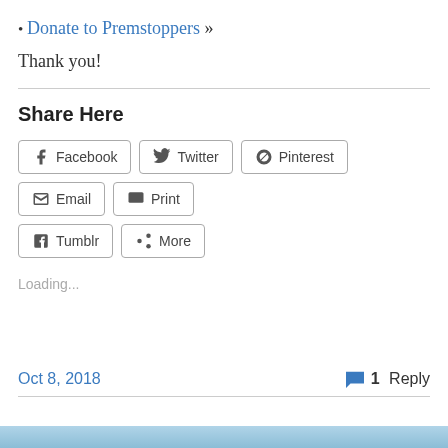• Donate to Premstoppers »
Thank you!
Share Here
[Figure (other): Social sharing buttons: Facebook, Twitter, Pinterest, Email, Print, Tumblr, More]
Loading...
Oct 8, 2018
1 Reply
[Figure (photo): Blue header area at bottom of page]